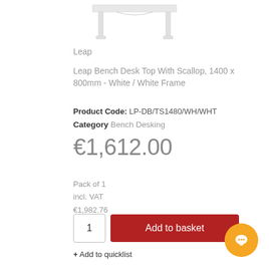[Figure (photo): Partial image of a white bench desk top with white frame legs, cropped at the top of the page]
Leap
Leap Bench Desk Top With Scallop, 1400 x 800mm - White / White Frame
Product Code: LP-DB/TS1480/WH/WHT
Category Bench Desking
€1,612.00
Pack of 1
incl. VAT
€1,982.76
1   Add to basket
+ Add to quicklist